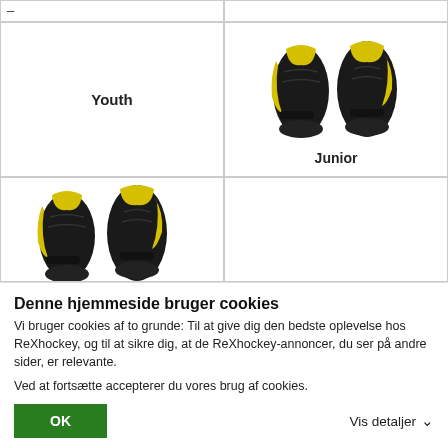[Figure (photo): Hockey elbow pad product image for Youth category]
Youth
[Figure (photo): Hockey elbow pad product image for Junior category - black and yellow pads]
Junior
[Figure (photo): Hockey elbow pad product image - black and yellow pads, partially visible]
Denne hjemmeside bruger cookies
Vi bruger cookies af to grunde: Til at give dig den bedste oplevelse hos ReXhockey, og til at sikre dig, at de ReXhockey-annoncer, du ser på andre sider, er relevante.
Ved at fortsætte accepterer du vores brug af cookies.
OK
Vis detaljer